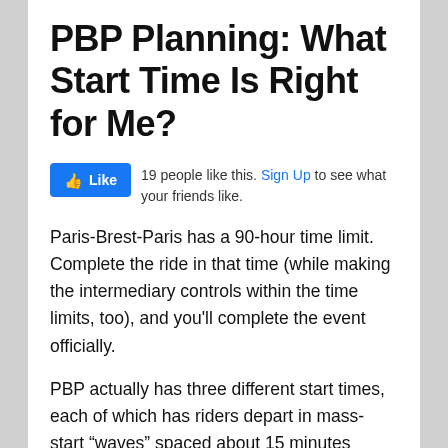PBP Planning: What Start Time Is Right for Me?
[Figure (other): Facebook Like button widget showing '19 people like this. Sign Up to see what your friends like.']
Paris-Brest-Paris has a 90-hour time limit. Complete the ride in that time (while making the intermediary controls within the time limits, too), and you'll complete the event officially.
PBP actually has three different start times, each of which has riders depart in mass-start “waves” spaced about 15 minutes apart.  Some of the groups are further divided based on whether one is riding the event on a “solo” or a “special” bicycle. “Special” bicycles are anything other than two-wheeled, diamond-frame bikes. Tandems (and